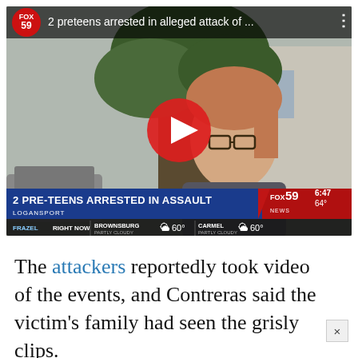[Figure (screenshot): YouTube video thumbnail showing a FOX 59 news segment titled '2 preteens arrested in alleged attack of...' with a woman being interviewed outdoors. A red YouTube play button is overlaid. The lower third shows '2 PRE-TEENS ARRESTED IN ASSAULT / LOGANSPORT' and a weather ticker showing Brownsburg 60° partly cloudy, Carmel 60° partly cloudy.]
The attackers reportedly took video of the events, and Contreras said the victim's family had seen the grisly clips.